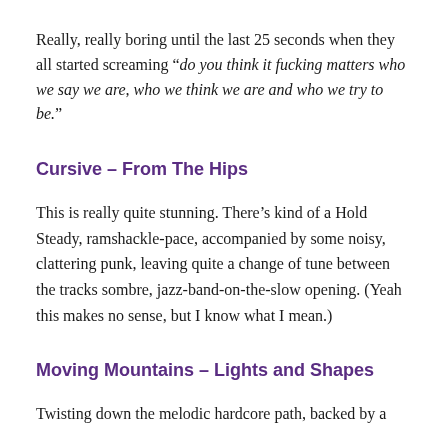Really, really boring until the last 25 seconds when they all started screaming “do you think it fucking matters who we say we are, who we think we are and who we try to be.”
Cursive – From The Hips
This is really quite stunning. There’s kind of a Hold Steady, ramshackle-pace, accompanied by some noisy, clattering punk, leaving quite a change of tune between the tracks sombre, jazz-band-on-the-slow opening. (Yeah this makes no sense, but I know what I mean.)
Moving Mountains – Lights and Shapes
Twisting down the melodic hardcore path, backed by a